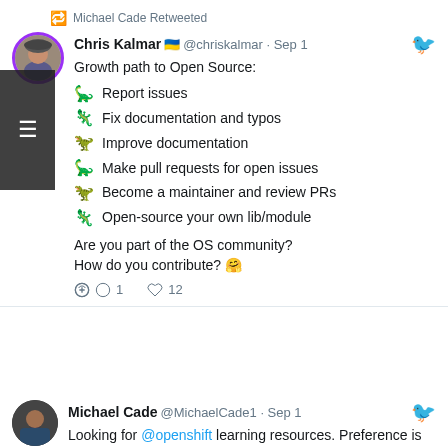Michael Cade Retweeted
Chris Kalmar 🇺🇦 @chriskalmar · Sep 1
Growth path to Open Source:
🦕 Report issues
🦎 Fix documentation and typos
🦖 Improve documentation
🦕 Make pull requests for open issues
🦖 Become a maintainer and review PRs
🦎 Open-source your own lib/module
Are you part of the OS community?
How do you contribute? 🤗
💬 1   ♡ 12
Michael Cade @MichaelCade1 · Sep 1
Looking for @openshift learning resources. Preference is YouTube content. Let me know ⬇️